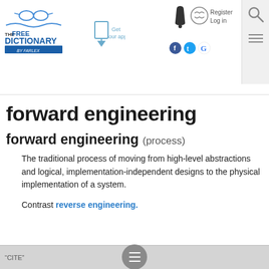[Figure (logo): The Free Dictionary by Farlex logo with glasses icon]
[Figure (icon): Get our app download icon with arrow]
[Figure (icon): Bell notification icon, brain icon, Register/Log in links, Facebook Twitter Google social icons, search magnifier icon]
forward engineering
forward engineering (process)
The traditional process of moving from high-level abstractions and logical, implementation-independent designs to the physical implementation of a system.
Contrast reverse engineering.
"CITE" — To cite this article...